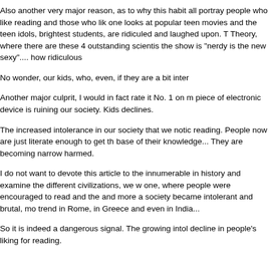Also another very major reason, as to why this habit all portray people who like reading and those who lik one looks at popular teen movies and the teen idols, brightest students, are ridiculed and laughed upon. T Theory, where there are these 4 outstanding scientis the show is "nerdy is the new sexy".... how ridiculous
No wonder, our kids, who, even, if they are a bit inter
Another major culprit, I would in fact rate it No. 1 on m piece of electronic device is ruining our society. Kids declines.
The increased intolerance in our society that we notic reading. People now are just literate enough to get th base of their knowledge... They are becoming narrow harmed.
I do not want to devote this article to the innumerable in history and examine the different civilizations, we w one, where people were encouraged to read and the and more a society became intolerant and brutal, mo trend in Rome, in Greece and even in India...
So it is indeed a dangerous signal. The growing intol decline in people's liking for reading.